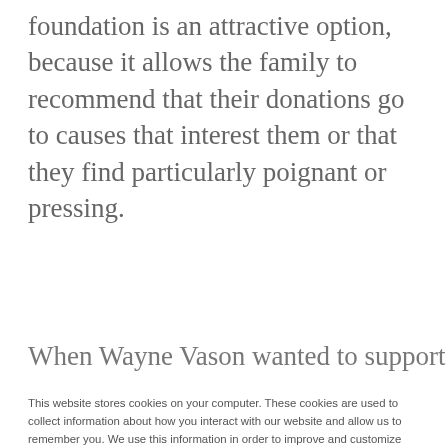foundation is an attractive option, because it allows the family to recommend that their donations go to causes that interest them or that they find particularly poignant or pressing.
When Wayne Vason wanted to support
This website stores cookies on your computer. These cookies are used to collect information about how you interact with our website and allow us to remember you. We use this information in order to improve and customize your browsing experience and for analytics and metrics about our visitors both on this website and other media. To find out more about the cookies we use, see our Privacy Policy.
If you decline, your information won't be tracked when you visit this website. A single cookie will be used in your browser to remember your preference not to be tracked.